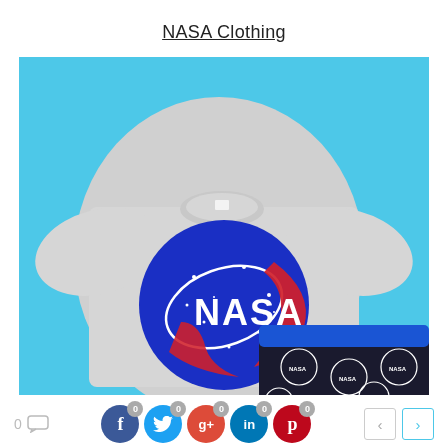NASA Clothing
[Figure (photo): NASA logo t-shirt in gray with blue NASA meatball logo and red swoosh, laid flat on a cyan/light blue background alongside folded dark navy/black shorts with repeating NASA logo pattern in white, with a blue waistband visible.]
0 [comment icon] | f 0 | t 0 | g+ 0 | in 0 | p 0 | < | >